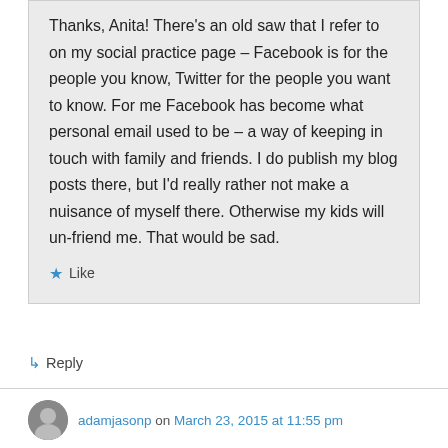Thanks, Anita! There's an old saw that I refer to on my social practice page – Facebook is for the people you know, Twitter for the people you want to know. For me Facebook has become what personal email used to be – a way of keeping in touch with family and friends. I do publish my blog posts there, but I'd really rather not make a nuisance of myself there. Otherwise my kids will un-friend me. That would be sad.
★ Like
↳ Reply
adamjasonp on March 23, 2015 at 11:55 pm